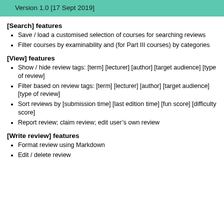Version 1.0 [17 Sept 2019]
[Search] features
Save / load a customised selection of courses for searching reviews
Filter courses by examinability and (for Part III courses) by categories
[View] features
Show / hide review tags: [term] [lecturer] [author] [target audience] [type of review]
Filter based on review tags: [term] [lecturer] [author] [target audience] [type of review]
Sort reviews by [submission time] [last edition time] [fun score] [difficulty score]
Report review; claim review; edit user’s own review
[Write review] features
Format review using Markdown
Edit / delete review